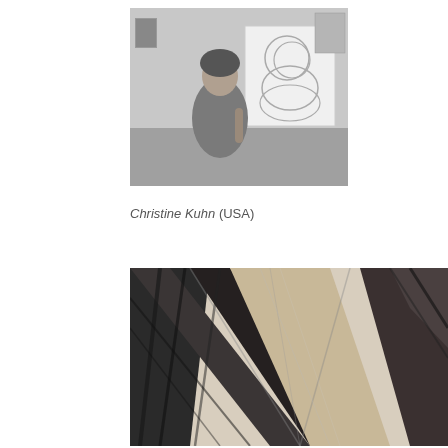[Figure (photo): Black and white photograph of a woman (Christine Kuhn) standing in front of a large drawing on paper showing overlapping circles/oval shapes. Room with artwork visible in background.]
Christine Kuhn (USA)
[Figure (photo): Black and white charcoal drawing detail showing bold, sweeping diagonal lines and shading creating an abstract fan or burst pattern.]